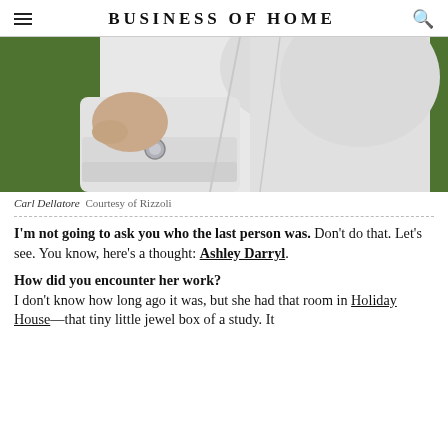BUSINESS OF HOME
[Figure (photo): Close-up photo of a person in a white dress shirt with cufflinks, in front of a green background]
Carl Dellatore  Courtesy of Rizzoli
I'm not going to ask you who the last person was. Don't do that. Let's see. You know, here's a thought: Ashley Darryl.
How did you encounter her work? I don't know how long ago it was, but she had that room in Holiday House—that tiny little jewel box of a study. It